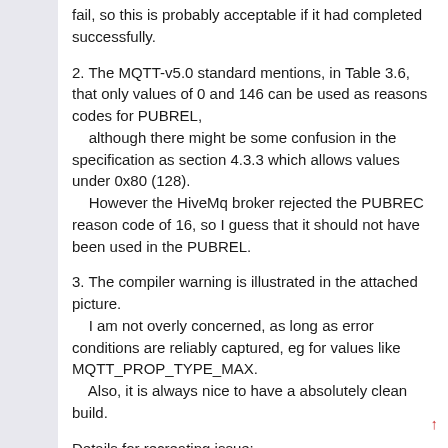fail, so this is probably acceptable if it had completed successfully.
2. The MQTT-v5.0 standard mentions, in Table 3.6, that only values of 0 and 146 can be used as reasons codes for PUBREL, although there might be some confusion in the specification as section 4.3.3 which allows values under 0x80 (128). However the HiveMq broker rejected the PUBREC reason code of 16, so I guess that it should not have been used in the PUBREL.
3. The compiler warning is illustrated in the attached picture. I am not overly concerned, as long as error conditions are reliably captured, eg for values like MQTT_PROP_TYPE_MAX. Also, it is always nice to have a absolutely clean build.
Details for recreating issue: